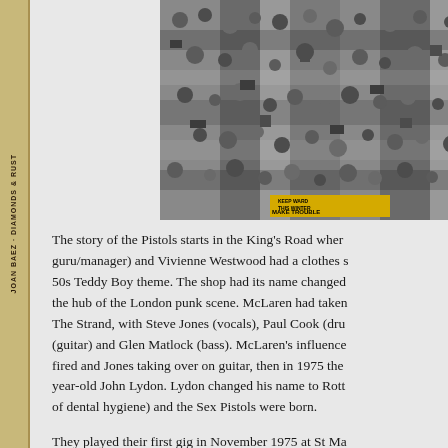[Figure (photo): Black and white crowd photograph, possibly a punk concert or public gathering. Small yellow text visible at bottom reading 'KEEP WARD THIS WINTER MAKE TROUBLE']
The story of the Pistols starts in the King's Road where guru/manager) and Vivienne Westwood had a clothes s 50s Teddy Boy theme. The shop had its name changed the hub of the London punk scene. McLaren had taken The Strand, with Steve Jones (vocals), Paul Cook (dru (guitar) and Glen Matlock (bass). McLaren's influence fired and Jones taking over on guitar, then in 1975 the year-old John Lydon. Lydon changed his name to Rott of dental hygiene) and the Sex Pistols were born.
They played their first gig in November 1975 at St Ma Matlock was studying. They sung a number of cover v